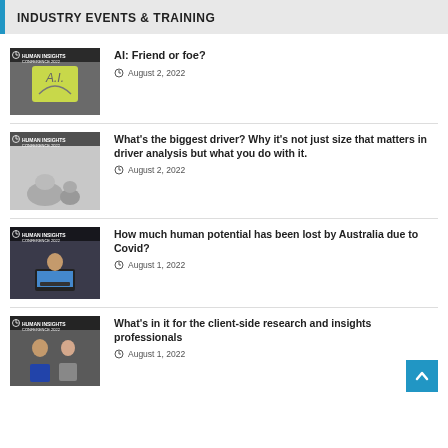INDUSTRY EVENTS & TRAINING
AI: Friend or foe?
August 2, 2022
What’s the biggest driver? Why it’s not just size that matters in driver analysis but what you do with it.
August 2, 2022
How much human potential has been lost by Australia due to Covid?
August 1, 2022
What’s in it for the client-side research and insights professionals
August 1, 2022